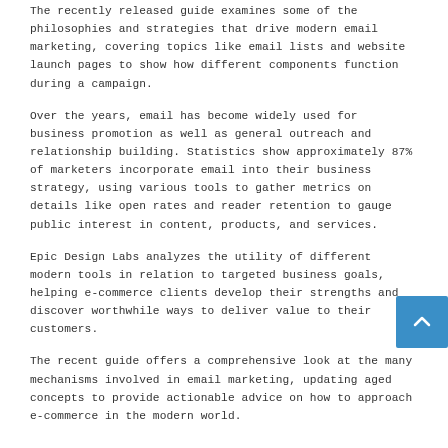The recently released guide examines some of the philosophies and strategies that drive modern email marketing, covering topics like email lists and website launch pages to show how different components function during a campaign.
Over the years, email has become widely used for business promotion as well as general outreach and relationship building. Statistics show approximately 87% of marketers incorporate email into their business strategy, using various tools to gather metrics on details like open rates and reader retention to gauge public interest in content, products, and services.
Epic Design Labs analyzes the utility of different modern tools in relation to targeted business goals, helping e-commerce clients develop their strengths and discover worthwhile ways to deliver value to their customers.
The recent guide offers a comprehensive look at the many mechanisms involved in email marketing, updating aged concepts to provide actionable advice on how to approach e-commerce in the modern world.